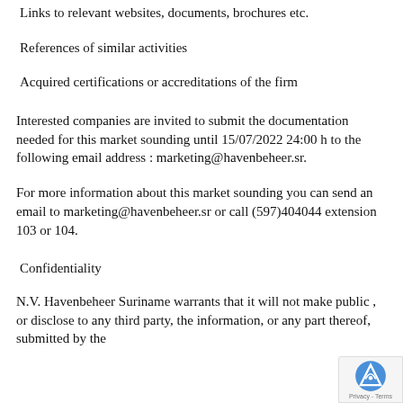Links to relevant websites, documents, brochures etc.
References of similar activities
Acquired certifications or accreditations of the firm
Interested companies are invited to submit the documentation needed for this market sounding until 15/07/2022 24:00 h to the following email address : marketing@havenbeheer.sr.
For more information about this market sounding you can send an email to marketing@havenbeheer.sr or call (597)404044 extension 103 or 104.
Confidentiality
N.V. Havenbeheer Suriname warrants that it will not make public , or disclose to any third party, the information, or any part thereof, submitted by the